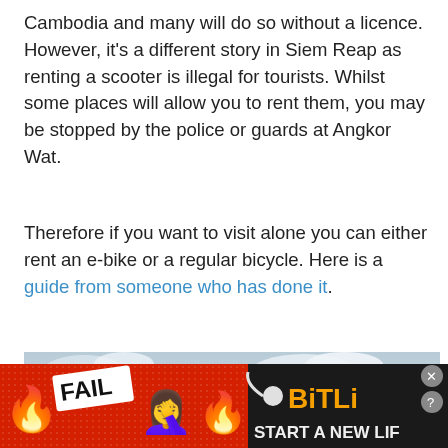Cambodia and many will do so without a licence. However, it's a different story in Siem Reap as renting a scooter is illegal for tourists. Whilst some places will allow you to rent them, you may be stopped by the police or guards at Angkor Wat.
Therefore if you want to visit alone you can either rent an e-bike or a regular bicycle. Here is a guide from someone who has done it.
[Figure (photo): Photo of ancient stone ruins at Angkor Wat against a cloudy sky, with temple structures visible in the foreground]
[Figure (other): Advertisement banner with red background showing 'FAIL' badge, cartoon blonde woman emoji, flame emoji, and 'BitLife - START A NEW LIFE' text on dark background]